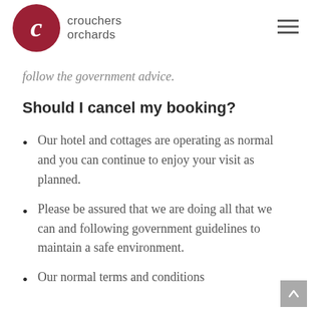crouchers orchards
follow the government advice.
Should I cancel my booking?
Our hotel and cottages are operating as normal and you can continue to enjoy your visit as planned.
Please be assured that we are doing all that we can and following government guidelines to maintain a safe environment.
Our normal terms and conditions